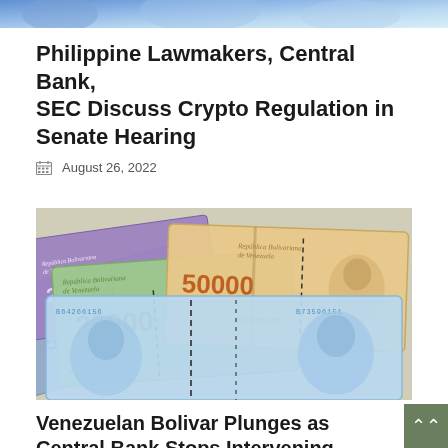[Figure (photo): Top blue-toned partial image strip (cropped from previous article)]
Philippine Lawmakers, Central Bank, SEC Discuss Crypto Regulation in Senate Hearing
August 26, 2022
[Figure (photo): Venezuelan Bolivar banknotes spread out, showing denominations 20000 and 50000 Bolivares, with serial numbers B64266156 and B73596151]
Venezuelan Bolivar Plunges as Central Bank Stops Intervening and